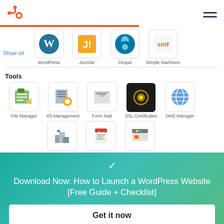[Figure (logo): HubSpot logo (orange sprocket/magnet icon) in top left, hamburger menu in top right]
[Figure (screenshot): CMS platform icons row: Show all link, WordPress, Joomla!, Drupal, Simple Machines icons with labels]
Tools
[Figure (screenshot): Tools icons: File Manager, IIS Management, Form Mail, SSL Certificates, DNS Manager]
[Figure (screenshot): Second row of tools icons (partially visible)]
Download Now: How to Launch a WordPress Website [Free Guide + Checklist]
Get it now